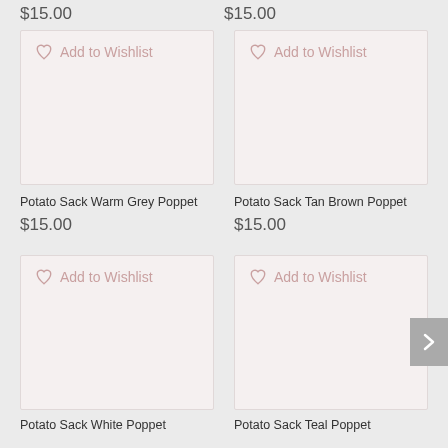$15.00
$15.00
[Figure (screenshot): Product image placeholder with Add to Wishlist button - Potato Sack Warm Grey Poppet]
[Figure (screenshot): Product image placeholder with Add to Wishlist button - Potato Sack Tan Brown Poppet]
Potato Sack Warm Grey Poppet
$15.00
Potato Sack Tan Brown Poppet
$15.00
[Figure (screenshot): Product image placeholder with Add to Wishlist button - Potato Sack White Poppet]
[Figure (screenshot): Product image placeholder with Add to Wishlist button - Potato Sack Teal Poppet]
Potato Sack White Poppet
Potato Sack Teal Poppet